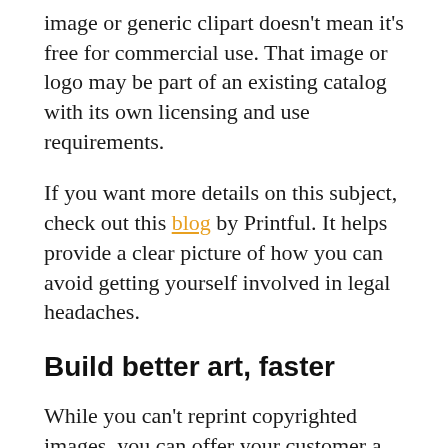image or generic clipart doesn't mean it's free for commercial use. That image or logo may be part of an existing catalog with its own licensing and use requirements.
If you want more details on this subject, check out this blog by Printful. It helps provide a clear picture of how you can avoid getting yourself involved in legal headaches.
Build better art, faster
While you can't reprint copyrighted images, you can offer your customer a unique design that fits their vision. If you want to save time and money with this process, you can use GraphicsFlow's design library, which features more than 25,000